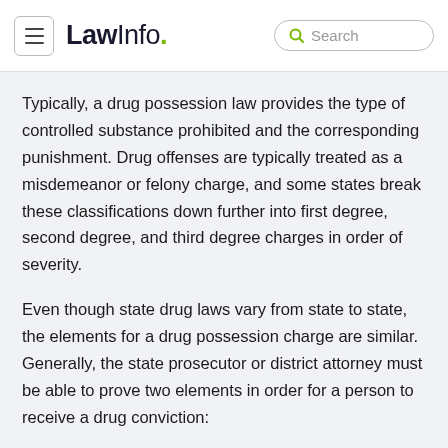LawInfo. Search
Typically, a drug possession law provides the type of controlled substance prohibited and the corresponding punishment. Drug offenses are typically treated as a misdemeanor or felony charge, and some states break these classifications down further into first degree, second degree, and third degree charges in order of severity.
Even though state drug laws vary from state to state, the elements for a drug possession charge are similar. Generally, the state prosecutor or district attorney must be able to prove two elements in order for a person to receive a drug conviction:
The person accused knew the drug in their possession was a controlled substance, and
The person accused had the drug in their possession.